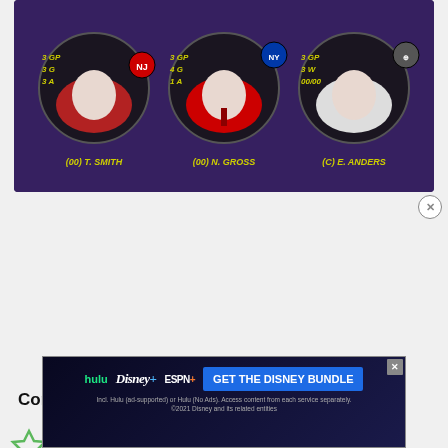[Figure (photo): Hockey player cards banner showing three players: (00) T. Smith (Montreal Canadiens), (00) N. Gross (NY Rangers), (C) E. Anders (unknown team), each with stats (3 GP, 3G, 3A), (3 GP, 4G, 1A), (3 GP, 3W, 00/00) overlaid on a dark purple background.]
Conference Coverage
Each monthly update I will take a look at a team from each conference and give a shallow dive into how their season...
[Figure (screenshot): Disney Bundle advertisement showing Hulu, Disney+, ESPN+ logos with 'GET THE DISNEY BUNDLE' call to action button and fine print about Hulu ad-supported or Hulu No Ads access.]